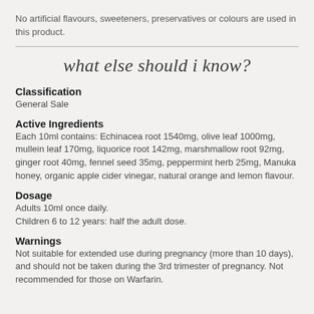No artificial flavours, sweeteners, preservatives or colours are used in this product.
what else should i know?
Classification
General Sale
Active Ingredients
Each 10ml contains: Echinacea root 1540mg, olive leaf 1000mg, mullein leaf 170mg, liquorice root 142mg, marshmallow root 92mg, ginger root 40mg, fennel seed 35mg, peppermint herb 25mg, Manuka honey, organic apple cider vinegar, natural orange and lemon flavour.
Dosage
Adults 10ml once daily.
Children 6 to 12 years: half the adult dose.
Warnings
Not suitable for extended use during pregnancy (more than 10 days), and should not be taken during the 3rd trimester of pregnancy. Not recommended for those on Warfarin.